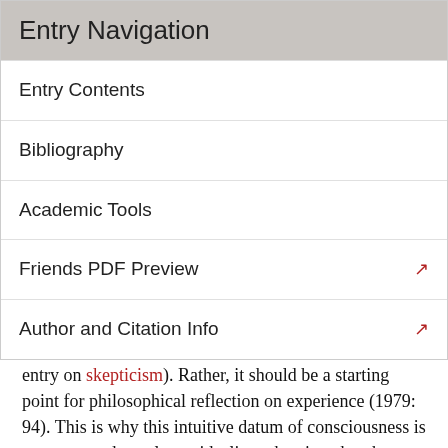Entry Navigation
Entry Contents
Bibliography
Academic Tools
Friends PDF Preview
Author and Citation Info
refute scepticism, the view that we cannot know anything about the mind-independent world (see the entry on skepticism). Rather, it should be a starting point for philosophical reflection on experience (1979: 94). This is why this intuitive datum of consciousness is not supposed to rule out idealism, the view that the objects and properties we perceive are in fact mind-dependent (see the entry on idealism). The idealist need not disagree with Strawson that reflection on ordinary experience supports Mind-Independence. They will just hold that, for philosophical reasons, this is not how experience really is. Mind-Independence, they can say, is intuitively appealing